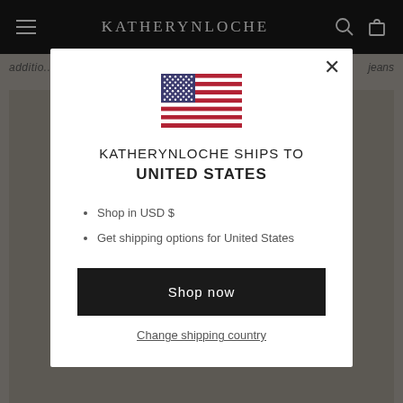KATHERYNLOCHE
additio... jeans
[Figure (screenshot): Modal dialog on e-commerce website showing shipping destination selector. Contains US flag, title 'KATHERYNLOCHE SHIPS TO UNITED STATES', bullet list with 'Shop in USD $' and 'Get shipping options for United States', a black 'Shop now' button, and a 'Change shipping country' link.]
KATHERYNLOCHE SHIPS TO UNITED STATES
Shop in USD $
Get shipping options for United States
Shop now
Change shipping country